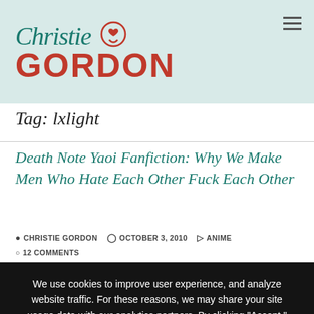[Figure (logo): Christie Gordon blog logo with teal cursive 'Christie', speech bubble with heart, red bold 'GORDON']
Tag: lxlight
Death Note Yaoi Fanfiction: Why We Make Men Who Hate Each Other Fuck Each Other
CHRISTIE GORDON   OCTOBER 3, 2010   ANIME   12 COMMENTS
We use cookies to improve user experience, and analyze website traffic. For these reasons, we may share your site usage data with our analytics partners. By clicking "Accept," you consent to store on your device all the technologies described in our Privacy Policy.